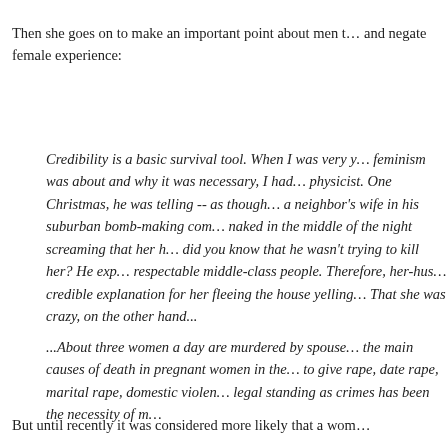Then she goes on to make an important point about men t... and negate female experience:
Credibility is a basic survival tool. When I was very y... feminism was about and why it was necessary, I had... physicist. One Christmas, he was telling -- as though... a neighbor's wife in his suburban bomb-making com... naked in the middle of the night screaming that her h... did you know that he wasn't trying to kill her? He exp... respectable middle-class people. Therefore, her-hus... credible explanation for her fleeing the house yelling... That she was crazy, on the other hand...
...About three women a day are murdered by spouse... the main causes of death in pregnant women in the... to give rape, date rape, marital rape, domestic violen... legal standing as crimes has been the necessity of m...
But until recently it was considered more likely that a wom...